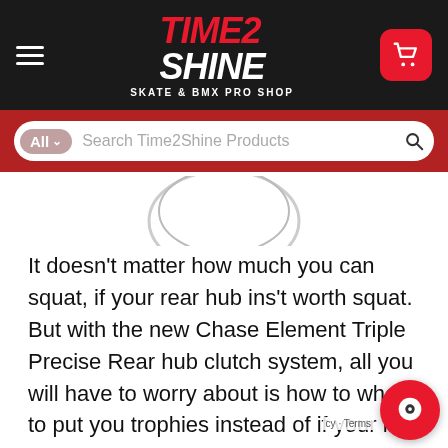[Figure (logo): Time2Shine Skate & BMX Pro Shop logo in white and red on black header bar with hamburger menu and cart button]
[Figure (screenshot): Search bar with 'All' dropdown and 'Search Time2Shine Products' placeholder text on red background]
[Figure (photo): Partial product image at top of content area (mostly cropped)]
It doesn’t matter how much you can squat, if your rear hub ins’t worth squat. But with the new Chase Element Triple Precise Rear hub clutch system, all you will have to worry about is how to where to put you trophies instead of if your hub can take all the power you can dish out. The 3 pawls clutch system gives you a direct link to power, while keeping the rear light and easy to maintain. With 72 points engagement, the drag is also minimal, while